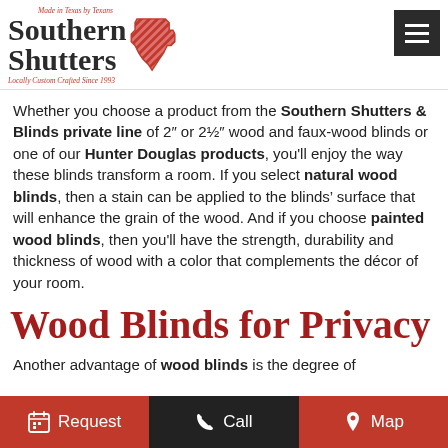[Figure (logo): Southern Shutters logo with Texas shape outline in red with diagonal stripes, script text 'Made in Texas by Texans' above and 'Locally Custom Crafted Since 1993' below, main text 'Southern Shutters' in bold serif]
Whether you choose a product from the Southern Shutters & Blinds private line of 2" or 2½" wood and faux-wood blinds or one of our Hunter Douglas products, you'll enjoy the way these blinds transform a room. If you select natural wood blinds, then a stain can be applied to the blinds' surface that will enhance the grain of the wood. And if you choose painted wood blinds, then you'll have the strength, durability and thickness of wood with a color that complements the décor of your room.
Wood Blinds for Privacy
Another advantage of wood blinds is the degree of
Request  Call  Map